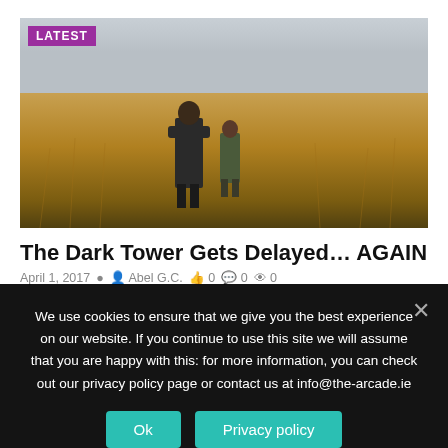[Figure (photo): Two figures (an adult in dark coat and a child) walking through a golden field of tall grass under a grey sky. A 'LATEST' badge is in the top-left corner of the image.]
The Dark Tower Gets Delayed… AGAIN
April 1, 2017  Abel G.C.  👍 0  💬 0  👁 0
We use cookies to ensure that we give you the best experience on our website. If you continue to use this site we will assume that you are happy with this: for more information, you can check out our privacy policy page or contact us at info@the-arcade.ie
Ok
Privacy policy